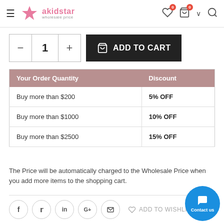akidstar wholesale price
[Figure (screenshot): Quantity selector with minus, 1, plus buttons and Add to Cart button]
| Your Order Quantity | Discount |
| --- | --- |
| Buy more than $200 | 5%  OFF |
| Buy more than $1000 | 10%  OFF |
| Buy more than $2500 | 15%  OFF |
The Price will be automatically charged to the Wholesale Price when you add more items to the shopping cart.
[Figure (infographic): Social share icons: f, twitter, in, G+, envelope, ADD TO WISHLIST, Contact us button]